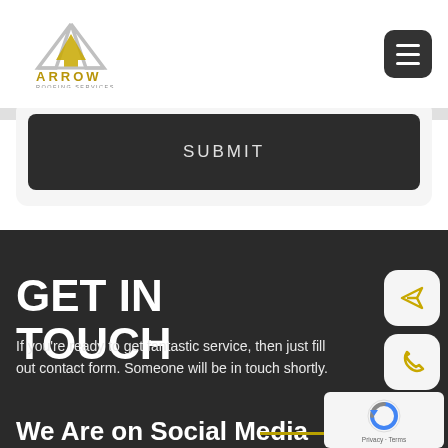[Figure (logo): Arrow Roofing Services logo with geometric arrow triangle shape in silver and gold, text ARROW ROOFING SERVICES below]
[Figure (other): Dark gray rounded square hamburger menu button with three white horizontal lines]
[Figure (other): Dark gray SUBMIT button inside a light card area]
GET IN TOUCH
If you're ready to get fantastic service, then just fill out contact form. Someone will be in touch shortly.
[Figure (other): White rounded square button with gold paper-plane/send arrow icon]
[Figure (other): White rounded square button with gold phone icon]
[Figure (other): reCAPTCHA widget with blue/gray arrow icon, Privacy and Terms text]
We Are on Social Media